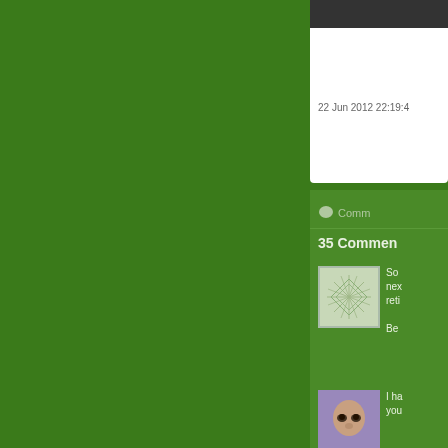22 Jun 2012 22:19:4
Comm
35 Commen
[Figure (illustration): User avatar with geometric sunburst/snowflake pattern on light green background]
So next reti Be
[Figure (photo): Close-up photo of a person's face, eyes visible]
I ha you
[Figure (photo): Close-up photo of a person with dark/reddish hair]